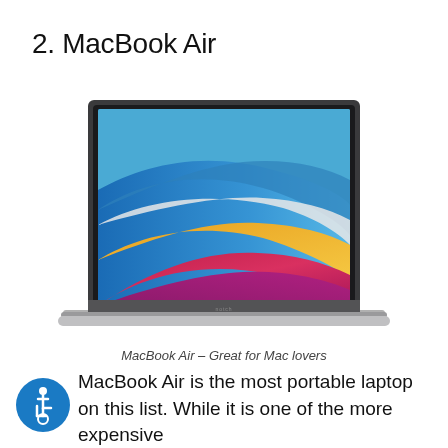2. MacBook Air
[Figure (illustration): MacBook Air laptop shown open with colorful macOS Big Sur wallpaper featuring red, orange, blue and white wave gradients on screen. Silver laptop body with thin bezels and Apple logo on lid base.]
MacBook Air – Great for Mac lovers
[Figure (illustration): Blue circular accessibility icon showing a person in a wheelchair]
MacBook Air is the most portable laptop on this list. While it is one of the more expensive